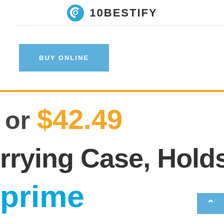10BESTIFY
BUY ONLINE
or $42.49
rrying Case, Holds
prime